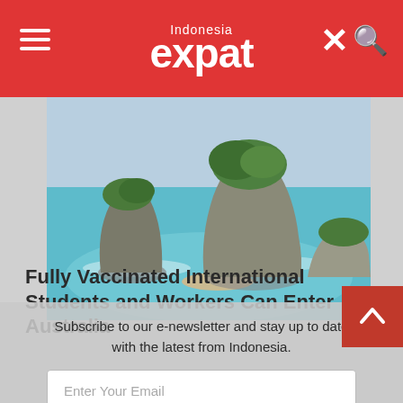Indonesia expat
[Figure (photo): Aerial view of rocky island formations surrounded by turquoise ocean water with a small sandy beach, Nusa Penida, Bali, Indonesia]
Fully Vaccinated International Students and Workers Can Enter Australia
Subscribe to our e-newsletter and stay up to date with the latest from Indonesia.
Enter Your Email